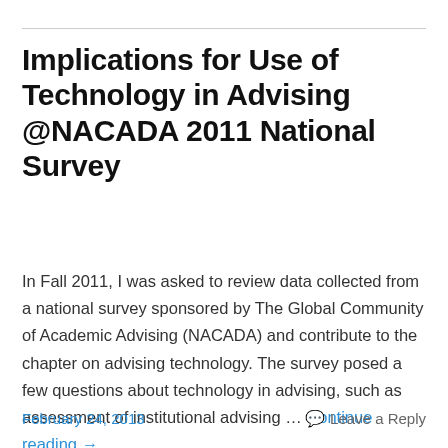Implications for Use of Technology in Advising @NACADA 2011 National Survey
In Fall 2011, I was asked to review data collected from a national survey sponsored by The Global Community of Academic Advising (NACADA) and contribute to the chapter on advising technology. The survey posed a few questions about technology in advising, such as assessment of institutional advising … Continue reading →
February 24, 2013   Leave a Reply